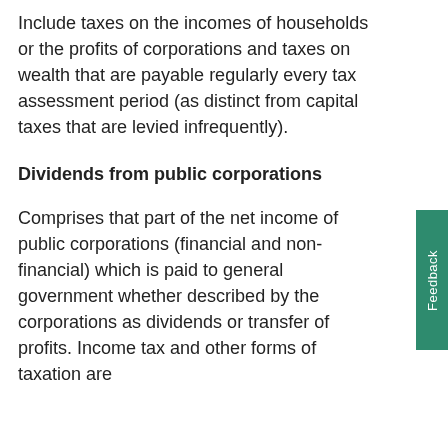Include taxes on the incomes of households or the profits of corporations and taxes on wealth that are payable regularly every tax assessment period (as distinct from capital taxes that are levied infrequently).
Dividends from public corporations
Comprises that part of the net income of public corporations (financial and non-financial) which is paid to general government whether described by the corporations as dividends or transfer of profits. Income tax and other forms of taxation are